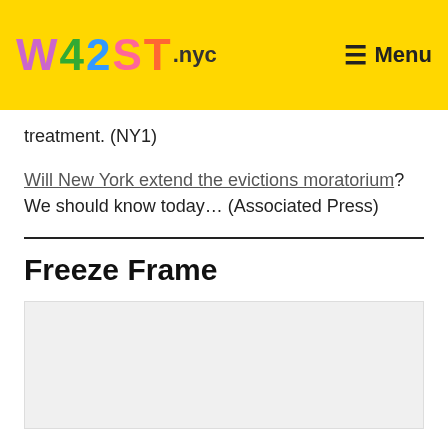W42ST.nyc — Menu
treatment. (NY1)
Will New York extend the evictions moratorium? We should know today… (Associated Press)
Freeze Frame
[Figure (photo): Image placeholder area below Freeze Frame section header]